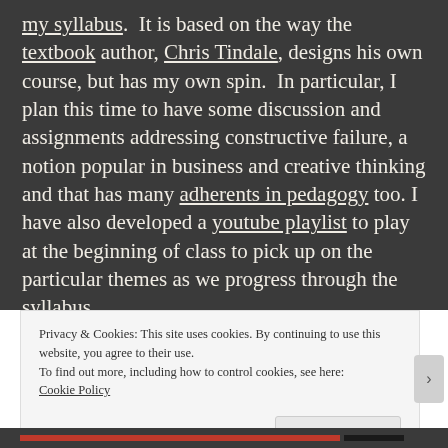my syllabus. It is based on the way the textbook author, Chris Tindale, designs his own course, but has my own spin. In particular, I plan this time to have some discussion and assignments addressing constructive failure, a notion popular in business and creative thinking and that has many adherents in pedagogy too. I have also developed a youtube playlist to play at the beginning of class to pick up on the particular themes as we progress through the syllabus.
Privacy & Cookies: This site uses cookies. By continuing to use this website, you agree to their use.
To find out more, including how to control cookies, see here: Cookie Policy
Close and accept